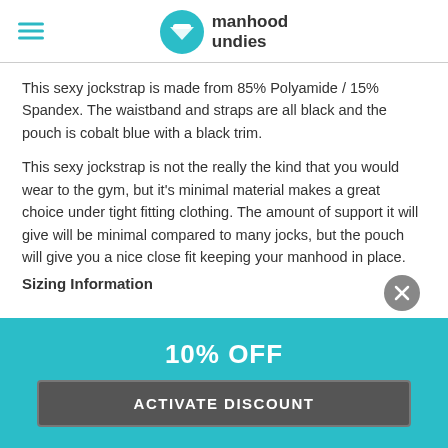manhood undies
This sexy jockstrap is made from 85% Polyamide / 15% Spandex. The waistband and straps are all black and the pouch is cobalt blue with a black trim.
This sexy jockstrap is not the really the kind that you would wear to the gym, but it's minimal material makes a great choice under tight fitting clothing. The amount of support it will give will be minimal compared to many jocks, but the pouch will give you a nice close fit keeping your manhood in place.
Sizing Information
10% OFF
ACTIVATE DISCOUNT